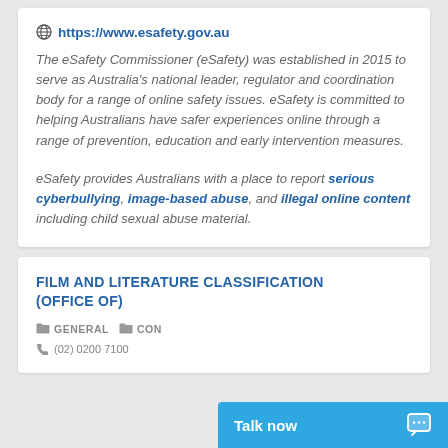https://www.esafety.gov.au
The eSafety Commissioner (eSafety) was established in 2015 to serve as Australia's national leader, regulator and coordination body for a range of online safety issues. eSafety is committed to helping Australians have safer experiences online through a range of prevention, education and early intervention measures.
eSafety provides Australians with a place to report serious cyberbullying, image-based abuse, and illegal online content including child sexual abuse material.
FILM AND LITERATURE CLASSIFICATION (OFFICE OF)
GENERAL  CON...
(02) 0200 7100